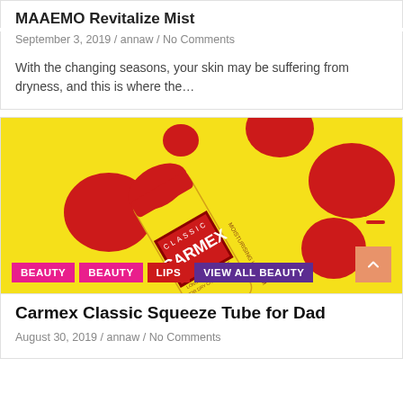MAAEMO Revitalize Mist
September 3, 2019 / annaw / No Comments
With the changing seasons, your skin may be suffering from dryness, and this is where the...
[Figure (photo): Carmex Classic Squeeze Tube lip balm product on yellow background with red decorative blobs and category tags BEAUTY, BEAUTY, LIPS, VIEW ALL BEAUTY]
Carmex Classic Squeeze Tube for Dad
August 30, 2019 / annaw / No Comments